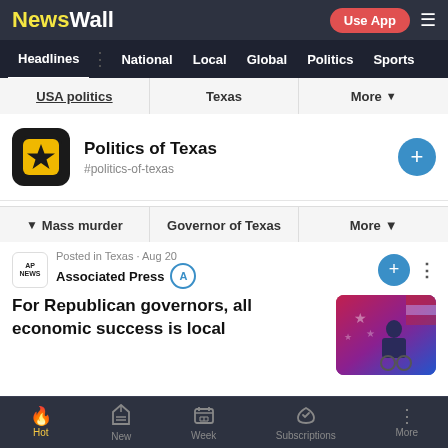NewsWall — Use App
Headlines  National  Local  Global  Politics  Sports
USA politics  Texas  More
Politics of Texas
#politics-of-texas
Mass murder  Governor of Texas  More
Posted in Texas · Aug 20
Associated Press A
For Republican governors, all economic success is local
Hot  New  Week  Subscriptions  More